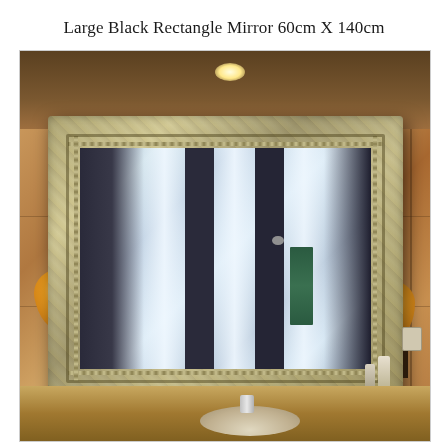Large Black Rectangle Mirror 60cm X 140cm
[Figure (photo): A large ornate silver/antique-framed rectangular mirror (60cm x 140cm) mounted horizontally on a warm brown tiled bathroom wall. The mirror has an elaborate decorative carved frame with bead detailing. On either side of the mirror are bronze wall sconce lights with amber glass shades. The reflection in the mirror shows pillars of light and a dark interior space. The bathroom has warm amber-toned stone tile walls, a vanity counter at the bottom with a sink and faucet visible, and toiletry bottles on the counter. An electrical outlet is visible on the right wall.]